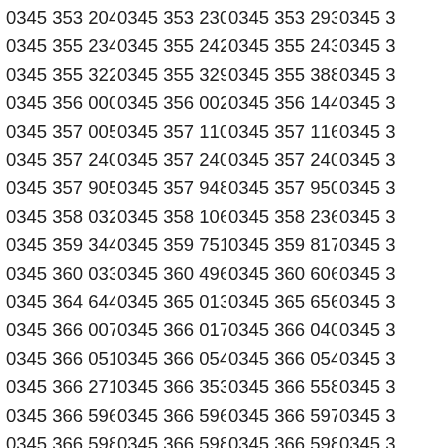| 0345 353 2046 | 0345 353 2302 | 0345 353 2930 | 0345 3 |
| 0345 355 2345 | 0345 355 2429 | 0345 355 2430 | 0345 3 |
| 0345 355 3229 | 0345 355 3299 | 0345 355 3880 | 0345 3 |
| 0345 356 0005 | 0345 356 0024 | 0345 356 1442 | 0345 3 |
| 0345 357 0055 | 0345 357 1107 | 0345 357 1160 | 0345 3 |
| 0345 357 2402 | 0345 357 2403 | 0345 357 2407 | 0345 3 |
| 0345 357 9050 | 0345 357 9488 | 0345 357 9500 | 0345 3 |
| 0345 358 0327 | 0345 358 1063 | 0345 358 2362 | 0345 3 |
| 0345 359 3447 | 0345 359 7516 | 0345 359 8175 | 0345 3 |
| 0345 360 0334 | 0345 360 4965 | 0345 360 6064 | 0345 3 |
| 0345 364 6441 | 0345 365 0137 | 0345 365 6565 | 0345 3 |
| 0345 366 0075 | 0345 366 0175 | 0345 366 0407 | 0345 3 |
| 0345 366 0515 | 0345 366 0541 | 0345 366 0543 | 0345 3 |
| 0345 366 2711 | 0345 366 3537 | 0345 366 5587 | 0345 3 |
| 0345 366 5968 | 0345 366 5969 | 0345 366 5974 | 0345 3 |
| 0345 366 5980 | 0345 366 5983 | 0345 366 5985 | 0345 3 |
| 0345 366 5996 | 0345 366 6271 | 0345 366 6427 | 0345 3 |
| 0345 366 6659 | 0345 366 7729 | 0345 366 7772 | 0345 3 |
| 0345 367 3369 | 0345 367 3693 | 0345 367 4078 | 0345 3 |
| 0345 368 4488 | 0345 368 4868 | 0345 370 0038 | 0345 3 |